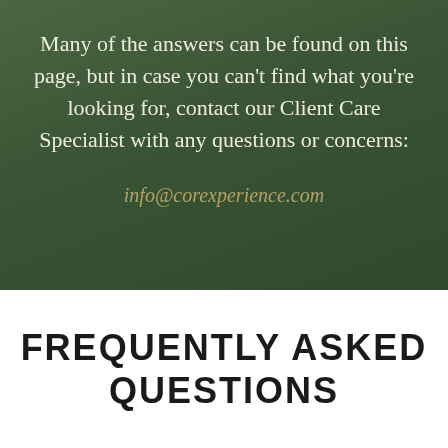Many of the answers can be found on this page, but in case you can't find what you're looking for, contact our Client Care Specialist with any questions or concerns:
info@corexperience.com
FREQUENTLY ASKED QUESTIONS